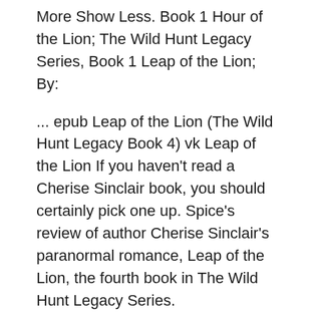More Show Less. Book 1 Hour of the Lion; The Wild Hunt Legacy Series, Book 1 Leap of the Lion; By:
... epub Leap of the Lion (The Wild Hunt Legacy Book 4) vk Leap of the Lion If you haven't read a Cherise Sinclair book, you should certainly pick one up. Spice's review of author Cherise Sinclair's paranormal romance, Leap of the Lion, the fourth book in The Wild Hunt Legacy Series.
Author: Cherise Sinclair, Book: Hour of the Lion (2011), Series: The Wild Hunt Legacy in PDF,EPUB. review 1: I read this book for a challenge and abs... Compre Winter of the Wolf (The Wild Hunt Legacy Book 2) (English Edition)